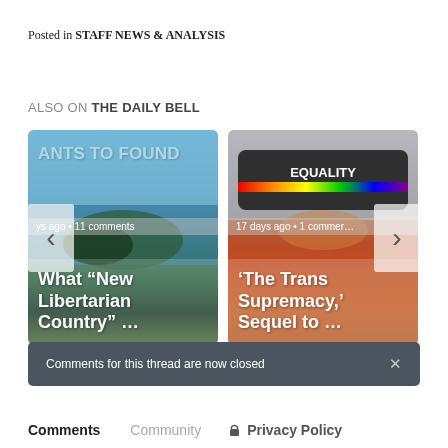Posted in STAFF NEWS & ANALYSIS
ALSO ON THE DAILY BELL
[Figure (screenshot): Carousel with two article cards. Left card: island image with text 'WANTS TO FOUND', meta '...ys ago • 11 comments', title 'What "New Libertarian Country" ...'. Right card: person wearing rainbow equality hat, meta '17 days ago • 1 commer...', title ''The Trans Supremacy,' Sequel to ...'. Navigation arrows on left and right.]
Comments for this thread are now closed
Comments  Community  Privacy Policy